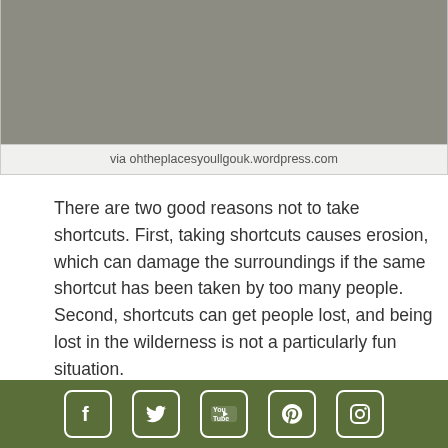[Figure (photo): Gray textured surface/pavement photo (partially visible, top portion of page)]
via ohtheplacesyoullgouk.wordpress.com
There are two good reasons not to take shortcuts. First, taking shortcuts causes erosion, which can damage the surroundings if the same shortcut has been taken by too many people. Second, shortcuts can get people lost, and being lost in the wilderness is not a particularly fun situation.
7. Know what poison ivy looks like.
[Figure (photo): Close-up photo of green poison ivy leaves]
Social media icons: Facebook, Twitter, YouTube, Pinterest, Instagram